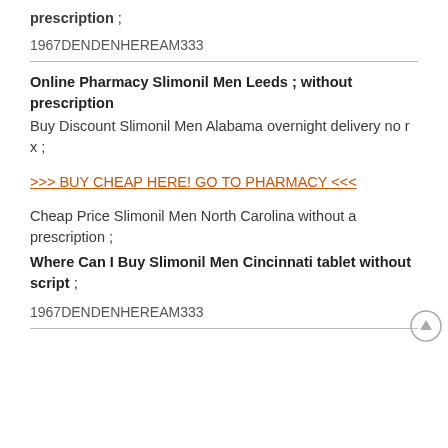prescription ;
1967DENDENHEREAM333
Online Pharmacy Slimonil Men Leeds ; without prescription
Buy Discount Slimonil Men Alabama overnight delivery no r x ;
>>> BUY CHEAP HERE! GO TO PHARMACY <<<
Cheap Price Slimonil Men North Carolina without a prescription ;
Where Can I Buy Slimonil Men Cincinnati tablet without script ;
1967DENDENHEREAM333